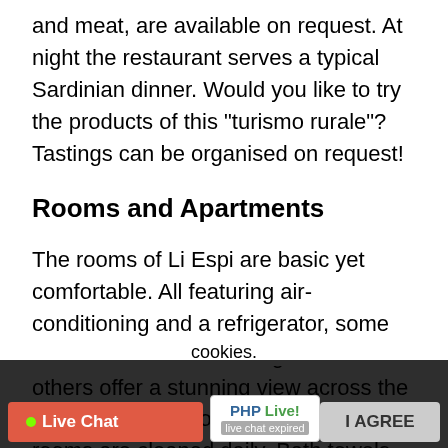and meat, are available on request. At night the restaurant serves a typical Sardinian dinner. Would you like to try the products of this "turismo rurale"? Tastings can be organised on request!
Rooms and Apartments
The rooms of Li Espi are basic yet comfortable. All featuring air-conditioning and a refrigerator, some rooms overlook the lush garden while others offer a stunning view across the Street of Bonifacio and Corsica. The rooms are cleaned daily. Bath towels and bed linen are changed every 4 days.
The 2 apartments are perfectly suited for families,